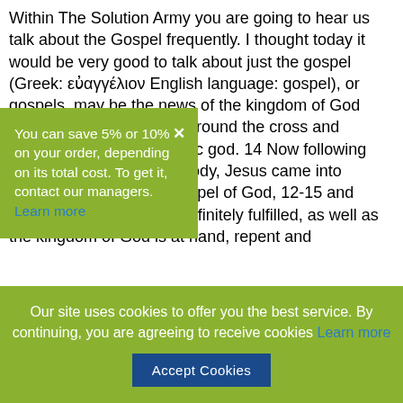Within The Solution Army you are going to hear us talk about the Gospel frequently. I thought today it would be very good to talk about just the gospel (Greek: εὐαγγέλιον English language: gospel), or gospels, may be the news of the kingdom of God (Mark 1: 14-15), centred around the cross and particular peoples romantic god. 14 Now following John was taken in to custody, Jesus came into Galilee, preaching the gospel of God, 12-15 and expressing, The time is definitely fulfilled, as well as the kingdom of God is at hand, repent and
You can save 5% or 10% on your order, depending on its total cost. To get it, contact our managers. Learn more
Our site uses cookies to offer you the best service. By continuing, you are agreeing to receive cookies Learn more Accept Cookies